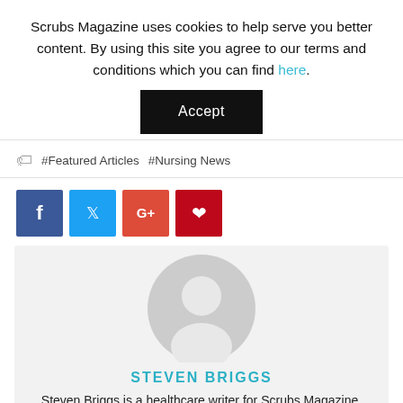Scrubs Magazine uses cookies to help serve you better content. By using this site you agree to our terms and conditions which you can find here.
Accept
#Featured Articles  #Nursing News
[Figure (other): Social share buttons: Facebook (blue), Twitter (light blue), Google+ (red-orange), Pinterest (dark red)]
[Figure (photo): Circular grey placeholder avatar/profile image for author Steven Briggs]
STEVEN BRIGGS
Steven Briggs is a healthcare writer for Scrubs Magazine, hailing from Brooklyn, NY. With both